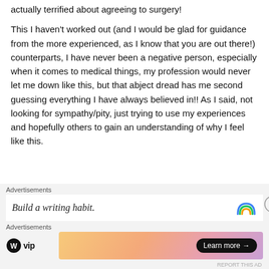actually terrified about agreeing to surgery!
This I haven't worked out (and I would be glad for guidance from the more experienced, as I know that you are out there!) counterparts, I have never been a negative person, especially when it comes to medical things, my profession would never let me down like this, but that abject dread has me second guessing everything I have always believed in!! As I said, not looking for sympathy/pity, just trying to use my experiences and hopefully others to gain an understanding of why I feel like this.
[Figure (other): Advertisement banner: 'Build a writing habit.' with a rainbow arc icon and a close (X) button]
[Figure (other): Advertisement banner: WordPress VIP logo on left, and a gradient banner with 'Learn more →' button on right]